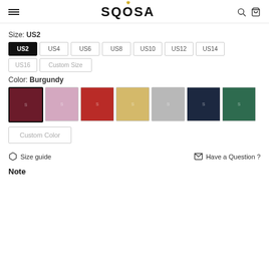SQOSA
Size: US2
US2 (selected), US4, US6, US8, US10, US12, US14
US16, Custom Size
Color: Burgundy
[Figure (photo): Color swatches showing 7 dress color options: burgundy (selected), pink, red, yellow, grey, navy, green]
Custom Color
Size guide   Have a Question ?
Note